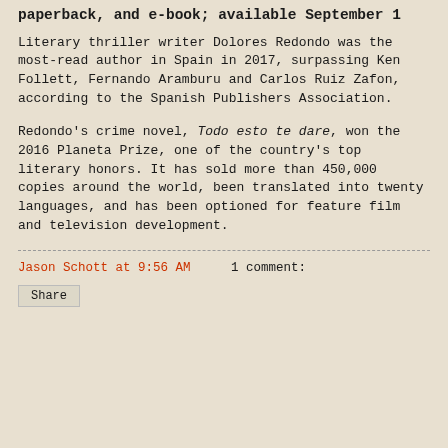paperback, and e-book; available September 1
Literary thriller writer Dolores Redondo was the most-read author in Spain in 2017, surpassing Ken Follett, Fernando Aramburu and Carlos Ruiz Zafon, according to the Spanish Publishers Association.
Redondo's crime novel, Todo esto te dare, won the 2016 Planeta Prize, one of the country's top literary honors. It has sold more than 450,000 copies around the world, been translated into twenty languages, and has been optioned for feature film and television development.
Jason Schott at 9:56 AM   1 comment:
Share